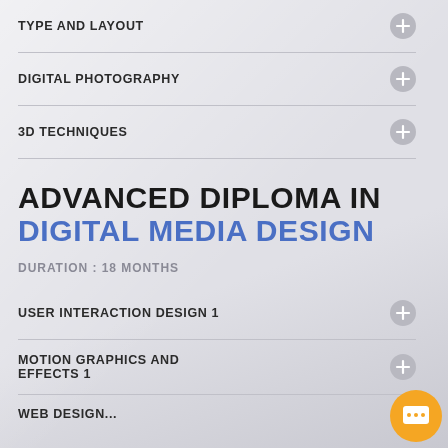TYPE AND LAYOUT
DIGITAL PHOTOGRAPHY
3D TECHNIQUES
ADVANCED DIPLOMA IN
DIGITAL MEDIA DESIGN
DURATION : 18 MONTHS
USER INTERACTION DESIGN 1
MOTION GRAPHICS AND EFFECTS 1
WEB DESIGN...